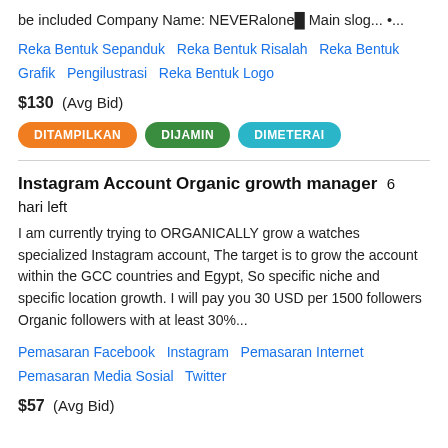be included Company Name: NEVERalone█ Main slog... •...
Reka Bentuk Sepanduk  Reka Bentuk Risalah  Reka Bentuk Grafik  Pengilustrasi  Reka Bentuk Logo
$130  (Avg Bid)
DITAMPILKAN  DIJAMIN  DIMETERAI
Instagram Account Organic growth manager  6 hari left
I am currently trying to ORGANICALLY grow a watches specialized Instagram account, The target is to grow the account within the GCC countries and Egypt, So specific niche and specific location growth. I will pay you 30 USD per 1500 followers Organic followers with at least 30%...
Pemasaran Facebook  Instagram  Pemasaran Internet  Pemasaran Media Sosial  Twitter
$57  (Avg Bid)